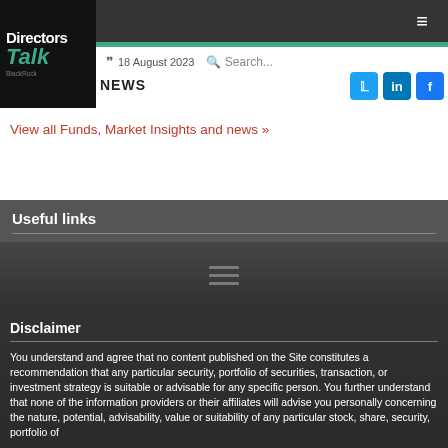[Figure (logo): DirectorsTalk logo with black background, teal 'Talk' text, BlackRock sub-label]
18 August 2023  Search...  NEWS
View all Funds, Market Insights and news »
Useful links
Disclaimer
You understand and agree that no content published on the Site constitutes a recommendation that any particular security, portfolio of securities, transaction, or investment strategy is suitable or advisable for any specific person. You further understand that none of the information providers or their affiliates will advise you personally concerning the nature, potential, advisability, value or suitability of any particular stock, share, security, portfolio of…